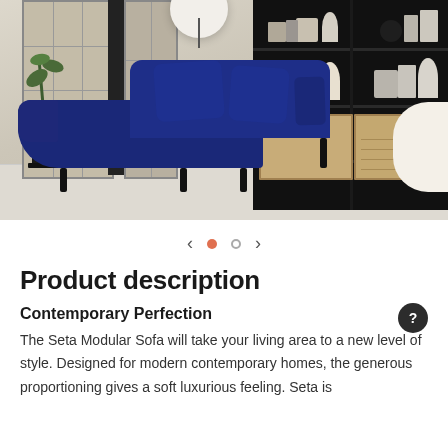[Figure (photo): A blue velvet sectional sofa (Seta Modular Sofa) with chaise lounge in a modern living room setting. Background includes a Japanese-style room divider screen on the left, a dark bookshelf with decorative items on the right, a spherical white pendant lamp, a plant, and a beige textured rug. A white curved chair is partially visible on the far right.]
< • ○ >
Product description
Contemporary Perfection
The Seta Modular Sofa will take your living area to a new level of style. Designed for modern contemporary homes, the generous proportioning gives a soft luxurious feeling. Seta is